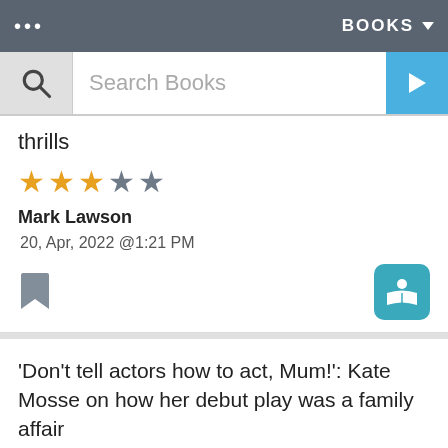... BOOKS ▾
[Figure (screenshot): Search bar with magnifying glass icon, 'Search Books' placeholder text, and blue arrow button]
thrills
[Figure (other): Star rating: 3 filled gold stars and 2 grey stars]
Mark Lawson
20, Apr, 2022 @1:21 PM
[Figure (other): Bookmark icon (grey) and read icon (teal book with person)]
'Don't tell actors how to act, Mum!': Kate Mosse on how her debut play was a family affair
Claire Armitstead
18, Apr, 2022 @7:00 AM